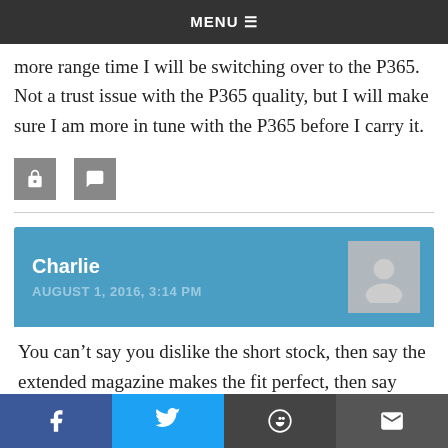MENU
more range time I will be switching over to the P365. Not a trust issue with the P365 quality, but I will make sure I am more in tune with the P365 before I carry it.
[Figure (other): Two small square social share buttons (grey icons)]
Charlie
AUGUST 1, 2016, 3:14 PM
You can’t say you dislike the short stock, then say the extended magazine makes the fit perfect, then say you prefer the perceived fault . Major contradiction.
Facebook, Twitter, Reddit, Email share buttons